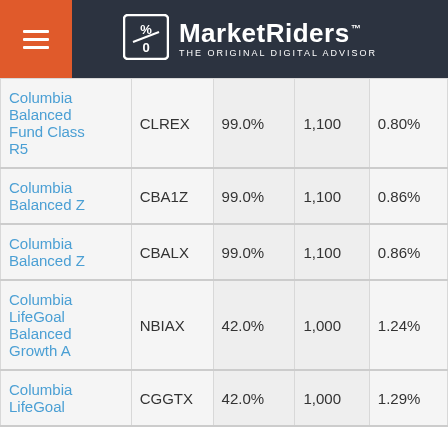MarketRiders — THE ORIGINAL DIGITAL ADVISOR
| Fund Name | Ticker | Score | Min | Expense |
| --- | --- | --- | --- | --- |
| Columbia Balanced Fund Class R5 | CLREX | 99.0% | 1,100 | 0.80% |
| Columbia Balanced Z | CBA1Z | 99.0% | 1,100 | 0.86% |
| Columbia Balanced Z | CBALX | 99.0% | 1,100 | 0.86% |
| Columbia LifeGoal Balanced Growth A | NBIAX | 42.0% | 1,000 | 1.24% |
| Columbia LifeGoal | CGGTX | 42.0% | 1,000 | 1.29% |